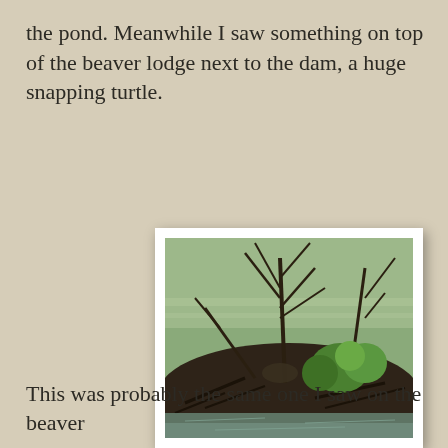the pond. Meanwhile I saw something on top of the beaver lodge next to the dam, a huge snapping turtle.
[Figure (photo): A beaver lodge made of sticks and branches surrounded by water, with bare dead trees and green shrubs growing from it, and water reflections visible in the foreground.]
This was probably the same one I saw on the beaver